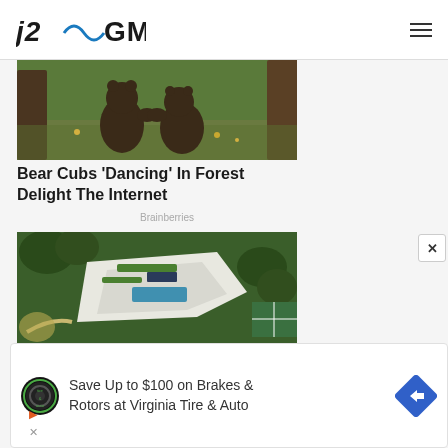j2GMN
[Figure (photo): Two bear cubs standing upright appearing to dance or wrestle in a forest setting with trees and grass in background]
Bear Cubs 'Dancing' In Forest Delight The Internet
Brainberries
[Figure (photo): Aerial view of a large modern luxury estate with a white flat-roofed building, pool, and surrounding green trees and grounds]
[Figure (screenshot): Advertisement banner: Save Up to $100 on Brakes & Rotors at Virginia Tire & Auto with tire and auto logo and navigation arrow icon]